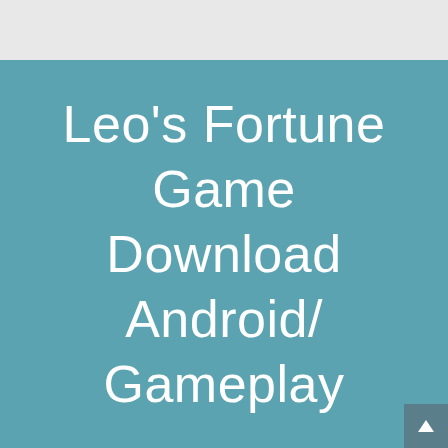Leo's Fortune Game Download Android/ Gameplay
[Figure (other): Scroll-to-top button with upward triangle arrow in dark teal, positioned at bottom-right corner]